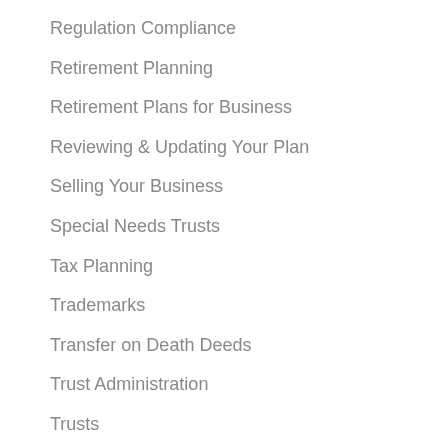Regulation Compliance
Retirement Planning
Retirement Plans for Business
Reviewing & Updating Your Plan
Selling Your Business
Special Needs Trusts
Tax Planning
Trademarks
Transfer on Death Deeds
Trust Administration
Trusts